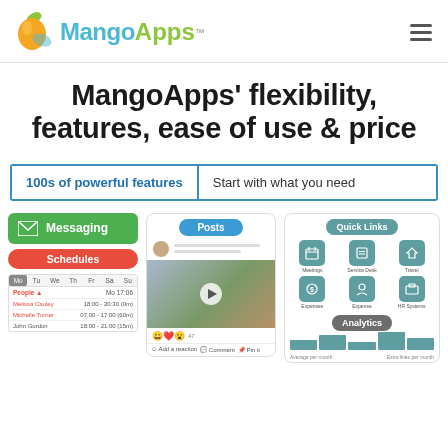[Figure (logo): MangoApps logo with mango fruit icon, 'Mango' in teal and 'Apps' in green with TM mark]
MangoApps' flexibility, features, ease of use & price
100s of powerful features
Start with what you need
[Figure (screenshot): Messaging button (green), Schedules pill (red), and a schedule table showing People, dates, Melissa Cauley 18:00-20:30, Michelle Turner 07:00-17:00, John Gordon 18:00-21:00]
[Figure (screenshot): Posts feature card with blue Posts pill, avatar with text lines, video thumbnail with play button, reaction icons, and action bar with Add a reaction, Comment, Pin it]
[Figure (screenshot): Quick Links card with teal pill header, 3x2 grid of icons (Meetings, Service Desk, Travel, Expenses, Expense, HR Systems), and Analytics section with bar chart preview]